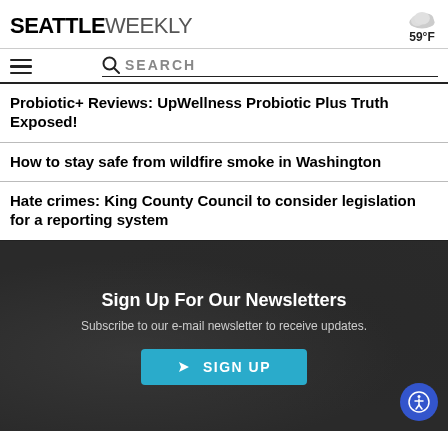SEATTLE WEEKLY — 59°F
SEARCH
Probiotic+ Reviews: UpWellness Probiotic Plus Truth Exposed!
How to stay safe from wildfire smoke in Washington
Hate crimes: King County Council to consider legislation for a reporting system
Sign Up For Our Newsletters
Subscribe to our e-mail newsletter to receive updates.
SIGN UP